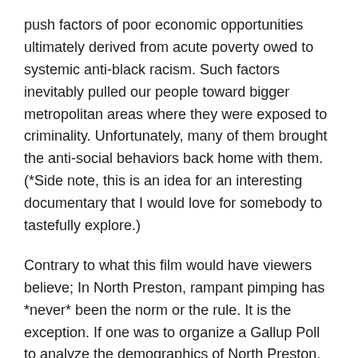push factors of poor economic opportunities ultimately derived from acute poverty owed to systemic anti-black racism. Such factors inevitably pulled our people toward bigger metropolitan areas where they were exposed to criminality. Unfortunately, many of them brought the anti-social behaviors back home with them. (*Side note, this is an idea for an interesting documentary that I would love for somebody to tastefully explore.)
Contrary to what this film would have viewers believe; In North Preston, rampant pimping has *never* been the norm or the rule. It is the exception. If one was to organize a Gallup Poll to analyze the demographics of North Preston, the percentage of people involved in pimping and prostitution would be incredibly and boringly low.
I doubt that those who chose to participate in the film are